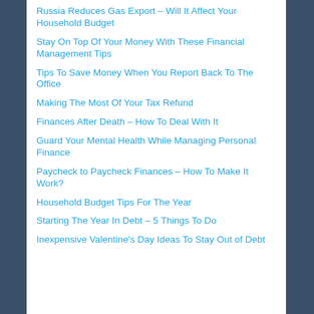Russia Reduces Gas Export – Will It Affect Your Household Budget
Stay On Top Of Your Money With These Financial Management Tips
Tips To Save Money When You Report Back To The Office
Making The Most Of Your Tax Refund
Finances After Death – How To Deal With It
Guard Your Mental Health While Managing Personal Finance
Paycheck to Paycheck Finances – How To Make It Work?
Household Budget Tips For The Year
Starting The Year In Debt – 5 Things To Do
Inexpensive Valentine's Day Ideas To Stay Out of Debt